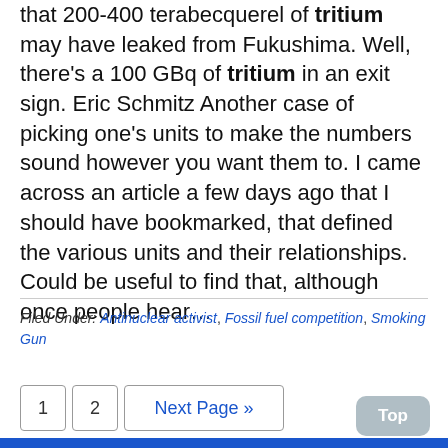that 200-400 terabecquerel of tritium may have leaked from Fukushima. Well, there's a 100 GBq of tritium in an exit sign. Eric Schmitz Another case of picking one's units to make the numbers sound however you want them to. I came across an article a few days ago that I should have bookmarked, that defined the various units and their relationships. Could be useful to find that, although once people hear…
Filed Under: Antinuclear activist, Fossil fuel competition, Smoking Gun
1  2  Next Page »
Top